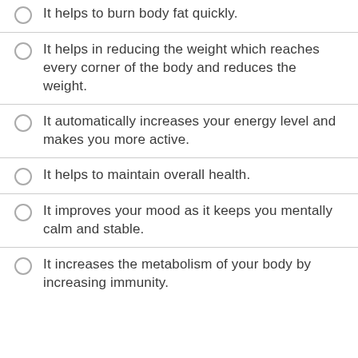It helps to burn body fat quickly.
It helps in reducing the weight which reaches every corner of the body and reduces the weight.
It automatically increases your energy level and makes you more active.
It helps to maintain overall health.
It improves your mood as it keeps you mentally calm and stable.
It increases the metabolism of your body by increasing immunity.